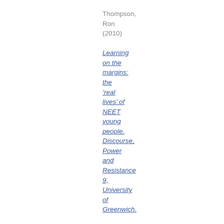Thompson, Ron (2010) Learning on the margins: the 'real lives' of NEET young people. Discourse, Power and Resistance 9, University of Greenwich.